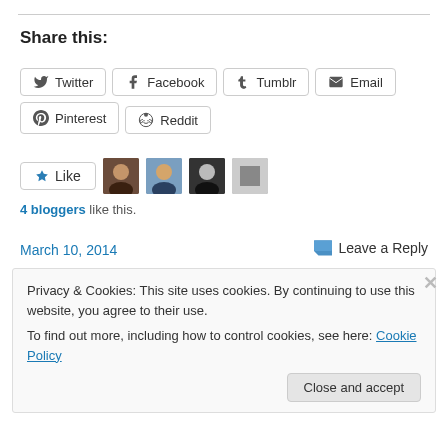Share this:
Twitter | Facebook | Tumblr | Email | Pinterest | Reddit
4 bloggers like this.
March 10, 2014
Leave a Reply
Privacy & Cookies: This site uses cookies. By continuing to use this website, you agree to their use. To find out more, including how to control cookies, see here: Cookie Policy
Close and accept